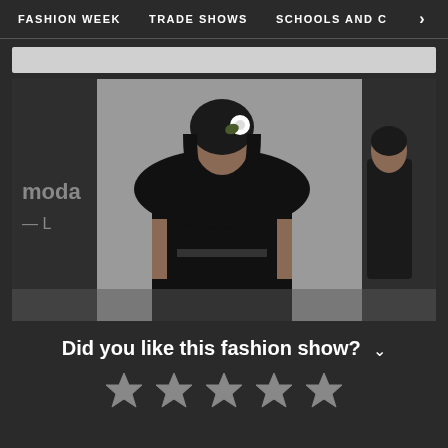FASHION WEEK   TRADE SHOWS   SCHOOLS AND C  >
[Figure (photo): Fashion runway photo showing a female model in a black hooded outfit with white flower accessory walking the runway, with another model in a black sleeveless dress visible in the background. Backdrop shows partial text 'moda' and 'La...' signage.]
Did you like this fashion show?
[Figure (infographic): Five star rating icons (empty/outline stars) displayed in a row for user rating input]